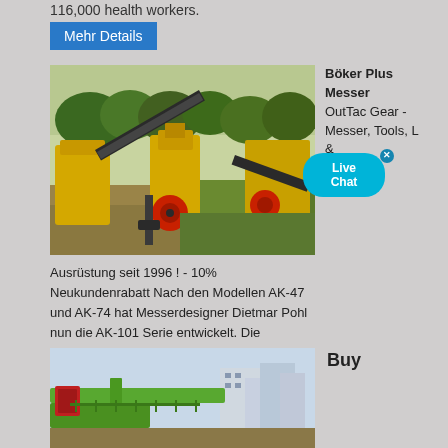116,000 health workers.
Mehr Details
[Figure (photo): Industrial machinery/mining equipment with conveyor belts, yellow mechanical components, and vegetation in background]
Böker Plus Messer OutTac Gear - Messer, Tools, L & ...
Ausrüstung seit 1996 ! - 10% Neukundenrabatt Nach den Modellen AK-47 und AK-74 hat Messerdesigner Dietmar Pohl nun die AK-101 Serie entwickelt. Die Zustimmung des Generals...
Mehr Details
Buy
[Figure (photo): Construction or industrial scene with green machinery and buildings in background]